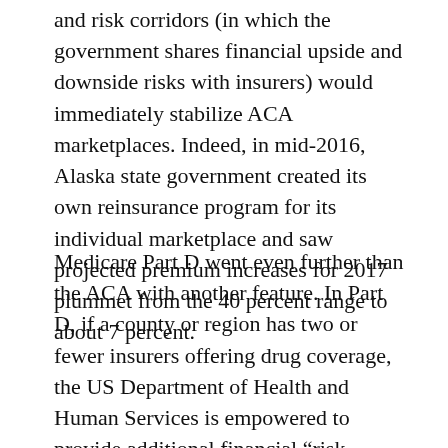and risk corridors (in which the government shares financial upside and downside risks with insurers) would immediately stabilize ACA marketplaces. Indeed, in mid-2016, Alaska state government created its own reinsurance program for its individual marketplace and saw projected premium increases for 2017 plummet from the 40 percent range to about 7 percent.
Medicare Part D went even further than the ACA with another feature. In Part D, if a county or region has two or fewer insurers offering drug coverage, the US Department of Health and Human Services is empowered to provide additional financial “risk corridor” support to insurers. If that doesn’t work, HHS is